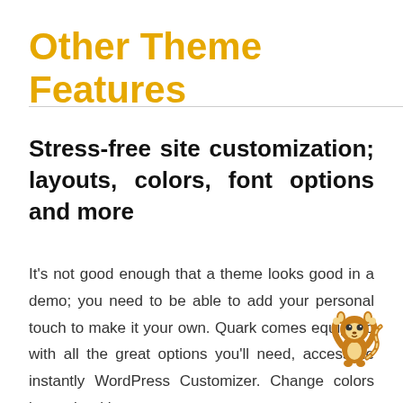Other Theme Features
Stress-free site customization; layouts, colors, font options and more
It's not good enough that a theme looks good in a demo; you need to be able to add your personal touch to make it your own. Quark comes equipped with all the great options you'll need, accessible instantly WordPress Customizer. Change colors instantly with a
[Figure (illustration): Cartoon raccoon/lemur mascot character with raised arms, rendered in brown and cream tones]